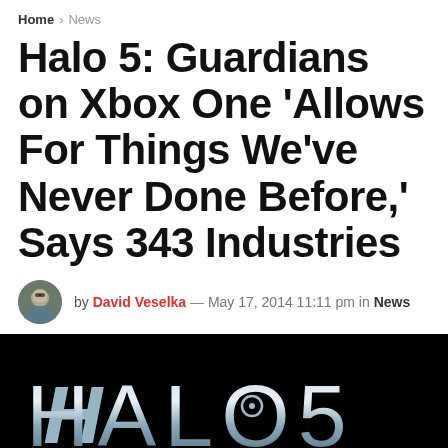Home > News
Halo 5: Guardians on Xbox One 'Allows For Things We've Never Done Before,' Says 343 Industries
by David Veselka — May 17, 2014 11:11 pm in News
[Figure (photo): Black background with metallic silver HALO 5 logo text]